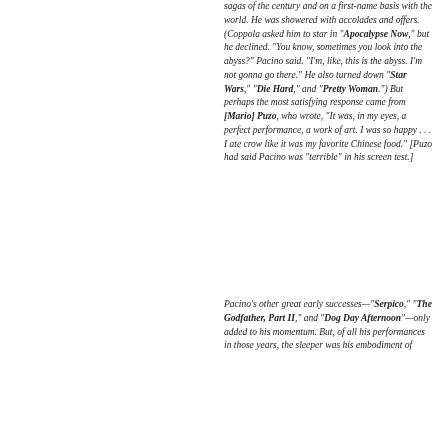sagas of the century and on a first-name basis with the world. He was showered with accolades and offers. (Coppola asked him to star in "Apocalypse Now," but he declined. "You know, sometimes you look into the abyss?" Pacino said. "I'm, like, this is the abyss. I'm not gonna go there." He also turned down "Star Wars," "Die Hard," and "Pretty Woman.") But perhaps the most satisfying response came from [Mario] Puzo, who wrote, "It was, in my eyes, a perfect performance, a work of art. I was so happy . . . I ate crow like it was my favorite Chinese food." [Puzo had said Pacino was "terrible" in his screen test.]
Pacino's other great early successes—"Serpico," "The Godfather, Part II," and "Dog Day Afternoon"—only added to his momentum. But, of all his performances in those years, the sleeper was his embodiment of